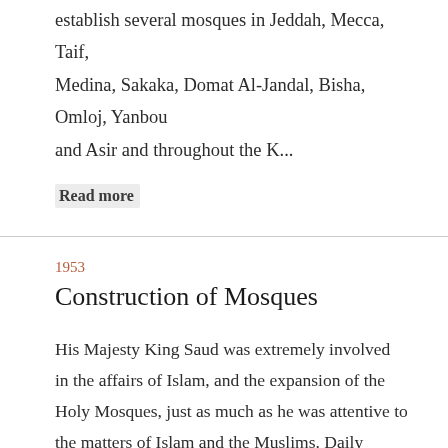establish several mosques in Jeddah, Mecca, Taif, Medina, Sakaka, Domat Al-Jandal, Bisha, Omloj, Yanbou and Asir and throughout the K...
Read more
1953
Construction of Mosques
His Majesty King Saud was extremely involved in the affairs of Islam, and the expansion of the Holy Mosques, just as much as he was attentive to the matters of Islam and the Muslims. Daily newspapers mentioned daily donations for the construction or reconstruction of